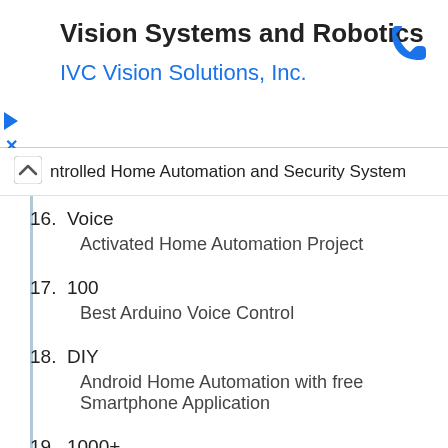Vision Systems and Robotics
IVC Vision Solutions, Inc.
ntrolled Home Automation and Security System
16.  Voice
     Activated Home Automation Project
17.  100
     Best Arduino Voice Control
18.  DIY
     Android Home Automation with free Smartphone Application
19.  1000+
     ideas about Arduino Home Automation on Pinterest | Arduino